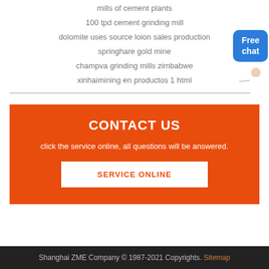mills of cement plants
100 tpd cement grinding mill
dolomite uses source loion sales production
springhare gold mine
champva grinding mills zimbabwe
xinhaimining en productos 1 html
CONTACT US
click the service online, all questions will be answered.
SERVICE ONLINE
Shanghai ZME Company © 1987-2021 Copyrights. Sitemap